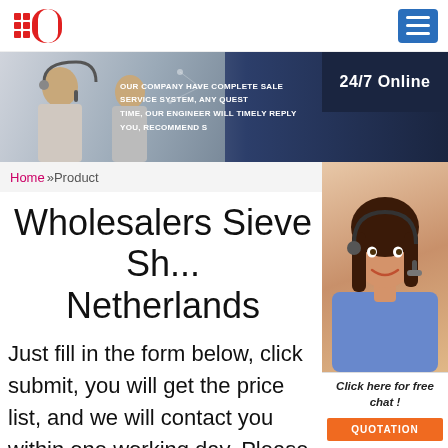Logo and navigation header
[Figure (photo): Banner with customer service representatives and text: OUR COMPANY HAVE COMPLETE SALE SERVICE SYSTEM, ANY QUEST TIME, OUR ENGINEER WILL TIMELY REPLY YOU, RECOMMEND S. Right side shows 24/7 Online badge.]
Home »Product
Wholesalers Sieve Sh... Netherlands
[Figure (photo): Customer service woman with headset, smiling. Click here for free chat! and QUOTATION button overlay.]
Just fill in the form below, click submit, you will get the price list, and we will contact you within one working day. Please also feel free to contact us via email or phone. (* is required).